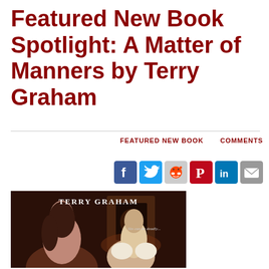Featured New Book Spotlight: A Matter of Manners by Terry Graham
FEATURED NEW BOOK    COMMENTS
[Figure (infographic): Row of social media share icons: Facebook (blue), Twitter (blue), Reddit (grey/orange), Pinterest (red), LinkedIn (blue), Email (grey)]
[Figure (photo): Book cover for 'A Matter of Manners' by Terry Graham. Dark background with a woman and man posed dramatically. Text reads 'TERRY GRAHAM' at top and tagline 'Sin can be deadly...' in center.]